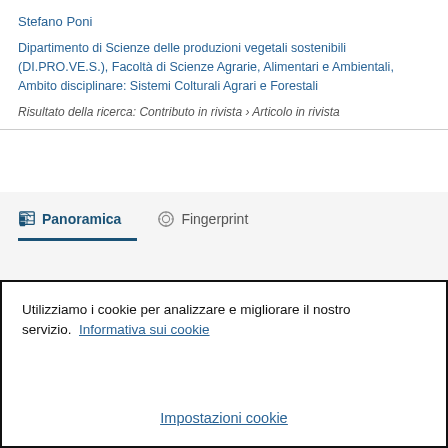Stefano Poni
Dipartimento di Scienze delle produzioni vegetali sostenibili (DI.PRO.VE.S.), Facoltà di Scienze Agrarie, Alimentari e Ambientali, Ambito disciplinare: Sistemi Colturali Agrari e Forestali
Risultato della ricerca: Contributo in rivista › Articolo in rivista
Panoramica
Fingerprint
Utilizziamo i cookie per analizzare e migliorare il nostro servizio.  Informativa sui cookie
Impostazioni cookie